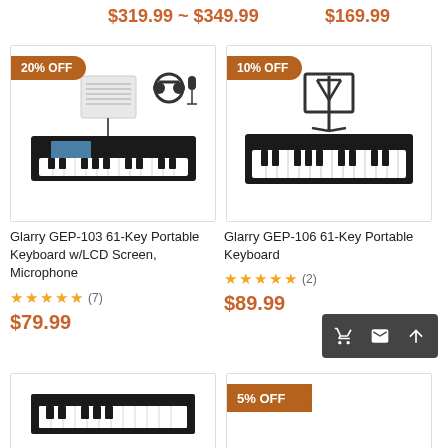$319.99 ~ $349.99
$169.99
[Figure (photo): Glarry GEP-103 61-Key Portable Keyboard with LCD Screen, headphones and microphone accessories shown, 20% OFF badge]
[Figure (photo): Glarry GEP-106 61-Key Portable Keyboard with music stand, 10% OFF badge]
Glarry GEP-103 61-Key Portable Keyboard w/LCD Screen, Microphone
★★★★★ (7)
$79.99
Glarry GEP-106 61-Key Portable Keyboard
★★★★★ (2)
$89.99
[Figure (photo): Bottom partial card left - keyboard product image]
[Figure (photo): Bottom partial card right - 5% OFF badge visible]